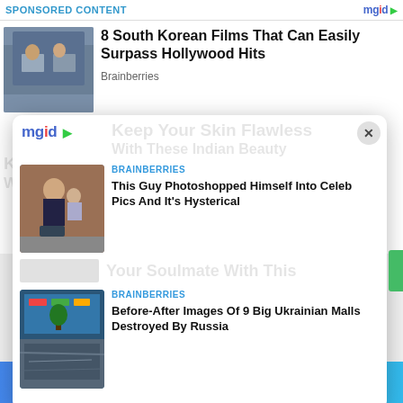SPONSORED CONTENT
8 South Korean Films That Can Easily Surpass Hollywood Hits
Brainberries
[Figure (screenshot): MGID sponsored content overlay card with logo, close button, and two article listings]
BRAINBERRIES
This Guy Photoshopped Himself Into Celeb Pics And It's Hysterical
BRAINBERRIES
Before-After Images Of 9 Big Ukrainian Malls Destroyed By Russia
Facebook share | Twitter share